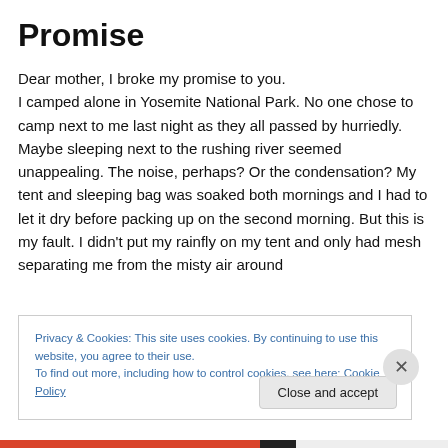Promise
Dear mother, I broke my promise to you. I camped alone in Yosemite National Park. No one chose to camp next to me last night as they all passed by hurriedly. Maybe sleeping next to the rushing river seemed unappealing. The noise, perhaps? Or the condensation? My tent and sleeping bag was soaked both mornings and I had to let it dry before packing up on the second morning. But this is my fault. I didn't put my rainfly on my tent and only had mesh separating me from the misty air around
Privacy & Cookies: This site uses cookies. By continuing to use this website, you agree to their use.
To find out more, including how to control cookies, see here: Cookie Policy
Close and accept